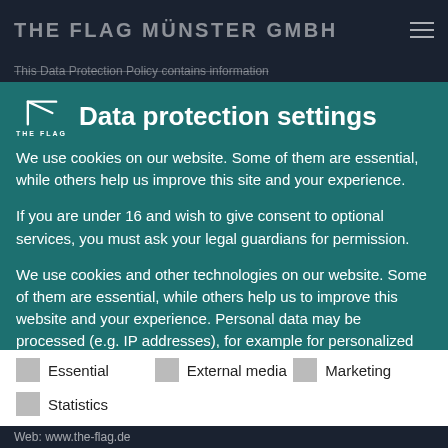THE FLAG MÜNSTER GMBH
This Data Protection Policy contains information
Data protection settings
We use cookies on our website. Some of them are essential, while others help us improve this site and your experience.
If you are under 16 and wish to give consent to optional services, you must ask your legal guardians for permission.
We use cookies and other technologies on our website. Some of them are essential, while others help us to improve this website and your experience. Personal data may be processed (e.g. IP addresses), for example for personalized ads and content or ad and content
Essential
External media
Marketing
Statistics
Web: www.the-flag.de